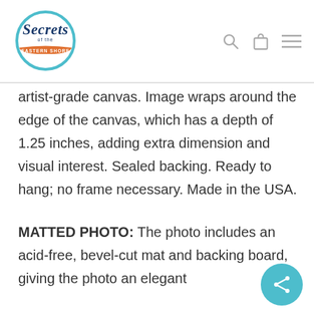Secrets of the Eastern Shore - logo with search, bag, and menu icons
artist-grade canvas. Image wraps around the edge of the canvas, which has a depth of 1.25 inches, adding extra dimension and visual interest. Sealed backing. Ready to hang; no frame necessary. Made in the USA.
MATTED PHOTO: The photo includes an acid-free, bevel-cut mat and backing board, giving the photo an elegant